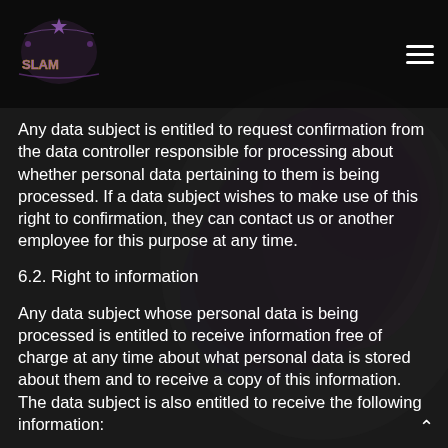SLAM [logo] [menu icon]
Any data subject is entitled to request confirmation from the data controller responsible for processing about whether personal data pertaining to them is being processed. If a data subject wishes to make use of this right to confirmation, they can contact us or another employee for this purpose at any time.
6.2. Right to information
Any data subject whose personal data is being processed is entitled to receive information free of charge at any time about what personal data is stored about them and to receive a copy of this information. The data subject is also entitled to receive the following information: